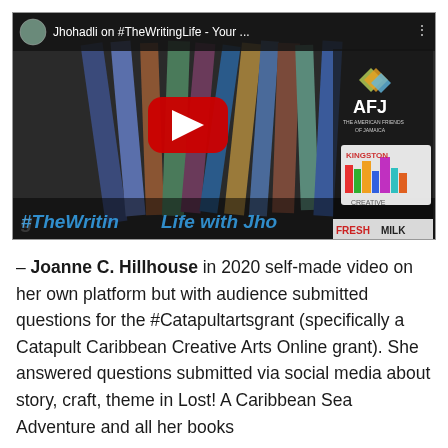[Figure (screenshot): YouTube video thumbnail showing stacked books with #TheWritingLife with Jhohadli text overlay, AFJ (American Friends of Jamaica) logo, Kingston Creative logo, and Fresh Milk logo visible. Video title bar shows 'Jhohadli on #TheWritingLife - Your ...' with channel avatar.]
– Joanne C. Hillhouse in 2020 self-made video on her own platform but with audience submitted questions for the #Catapultartsgrant (specifically a Catapult Caribbean Creative Arts Online grant). She answered questions submitted via social media about story, craft, theme in Lost! A Caribbean Sea Adventure and all her books